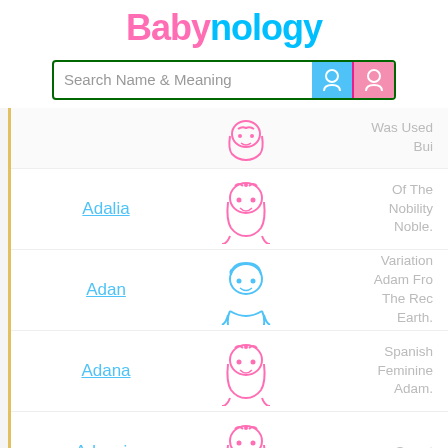Babynology
Search Name & Meaning
Adalia — Of The Nobility Noble.
Adan — Variation Adam From The Red Earth.
Adana — Spanish Feminine Adam.
Adoncia — Sweet